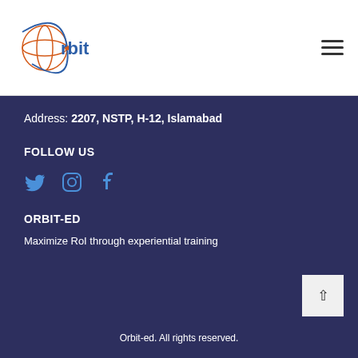[Figure (logo): Orbit logo with stylized globe/orbit graphic in orange and blue, text 'rbit' next to it]
Address: 2207, NSTP, H-12, Islamabad
FOLLOW US
[Figure (infographic): Three social media icons: Twitter bird icon, Instagram camera icon, Facebook 'f' icon, all in blue]
ORBIT-ED
Maximize RoI through experiential training
Orbit-ed. All rights reserved.